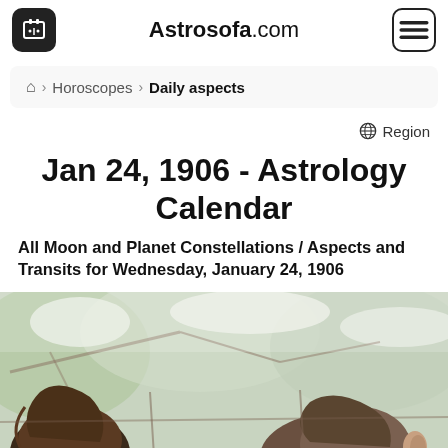Astrosofa.com
🏠 > Horoscopes > Daily aspects
⊕ Region
Jan 24, 1906 - Astrology Calendar
All Moon and Planet Constellations / Aspects and Transits for Wednesday, January 24, 1906
[Figure (photo): Outdoor winter scene with people, snow-covered branches and blurred background]